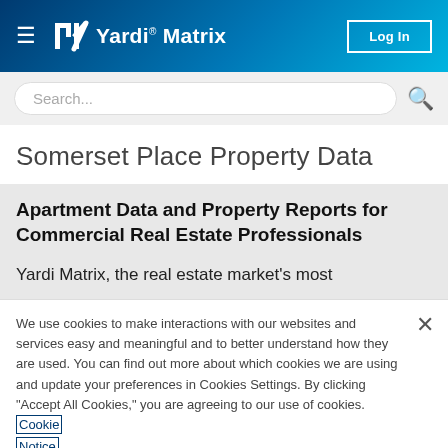Yardi Matrix | Log In
Search...
Somerset Place Property Data
Apartment Data and Property Reports for Commercial Real Estate Professionals
Yardi Matrix, the real estate market's most
We use cookies to make interactions with our websites and services easy and meaningful and to better understand how they are used. You can find out more about which cookies we are using and update your preferences in Cookies Settings. By clicking "Accept All Cookies," you are agreeing to our use of cookies. Cookie Notice.